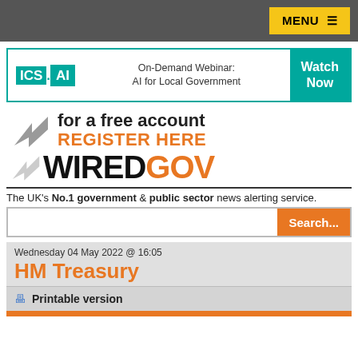MENU ☰
[Figure (other): ICS.AI advertisement banner: On-Demand Webinar: AI for Local Government. Watch Now button.]
[Figure (logo): WiredGov logo with arrows and text: 'for a free account REGISTER HERE' and 'WIREDGOV']
The UK's No.1 government & public sector news alerting service.
Wednesday 04 May 2022 @ 16:05
HM Treasury
🖨 Printable version